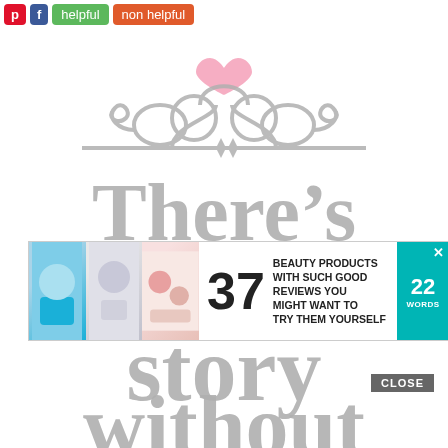Pinterest | Facebook | helpful | non helpful
[Figure (illustration): Decorative swirl tiara/crown ornament in gray with a pink heart at top center, followed by large gray and pink serif text reading: There's no good story... without (text continues below). The words 'There's' and 'no' and 'story' and 'without' are in gray; 'good' is in pink.]
[Figure (screenshot): Advertisement overlay showing '37 BEAUTY PRODUCTS WITH SUCH GOOD REVIEWS YOU MIGHT WANT TO TRY THEM YOURSELF' with product images on left and 22 Words logo on right. Has a CLOSE button above.]